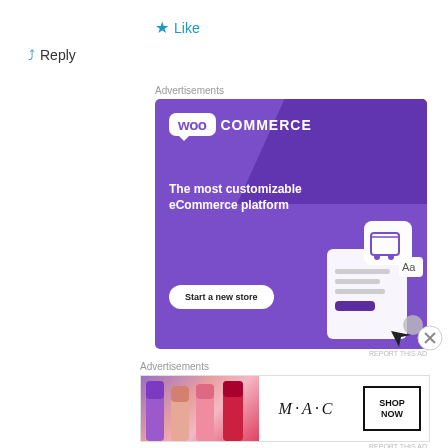★ Like
↪ Reply
Advertisements
[Figure (illustration): WooCommerce advertisement banner. Purple background with WooCommerce logo, tagline 'The most customizable eCommerce platform', a 'Start a new store' button, and a shopping cart mockup illustration.]
REPORT THIS AD
Advertisements
[Figure (illustration): MAC Cosmetics advertisement banner showing colorful lipsticks on the left, MAC logo in the center, and a 'SHOP NOW' button on the right.]